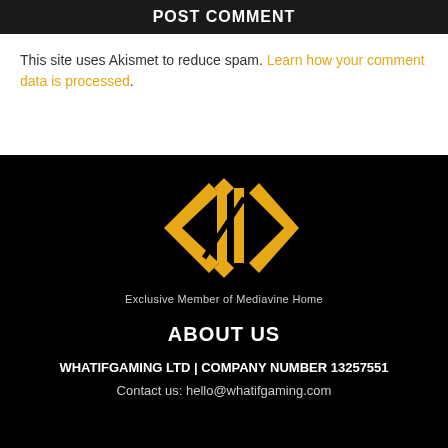POST COMMENT
This site uses Akismet to reduce spam. Learn how your comment data is processed.
[Figure (logo): WhatIfGaming logo - orange geometric diamond/arrow shape]
Exclusive Member of Mediavine Home
ABOUT US
WHATIFGAMING LTD | COMPANY NUMBER 13257551
Contact us: hello@whatifgaming.com